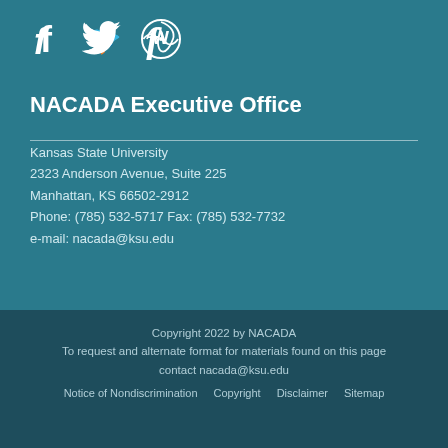[Figure (logo): Social media icons: Facebook, Twitter, WordPress]
NACADA Executive Office
Kansas State University
2323 Anderson Avenue, Suite 225
Manhattan, KS 66502-2912
Phone: (785) 532-5717 Fax: (785) 532-7732
e-mail: nacada@ksu.edu
Copyright 2022 by NACADA
To request and alternate format for materials found on this page contact nacada@ksu.edu
Notice of Nondiscrimination   Copyright   Disclaimer   Sitemap